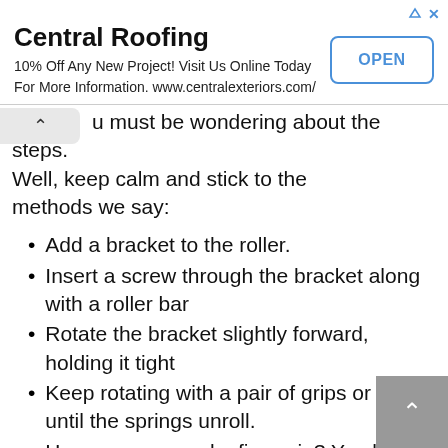[Figure (other): Advertisement banner for Central Roofing with title, body text, and OPEN button]
u must be wondering about the steps. Well, keep calm and stick to the methods we say:
Add a bracket to the roller.
Insert a screw through the bracket along with a roller bar
Rotate the bracket slightly forward, holding it tight
Keep rotating with a pair of grips or hands until the springs unroll.
Have you secured a firm grip? You better!
And release the spring tension off the rollers!